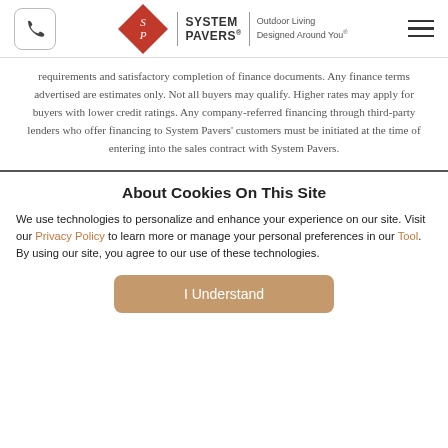System Pavers | Outdoor Living Designed Around You
requirements and satisfactory completion of finance documents. Any finance terms advertised are estimates only. Not all buyers may qualify. Higher rates may apply for buyers with lower credit ratings. Any company-referred financing through third-party lenders who offer financing to System Pavers' customers must be initiated at the time of entering into the sales contract with System Pavers.
About Cookies On This Site
We use technologies to personalize and enhance your experience on our site. Visit our Privacy Policy to learn more or manage your personal preferences in our Tool. By using our site, you agree to our use of these technologies.